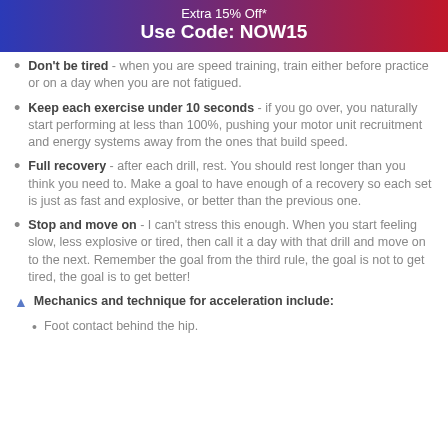Extra 15% Off*
Use Code: NOW15
Don't be tired - when you are speed training, train either before practice or on a day when you are not fatigued.
Keep each exercise under 10 seconds - if you go over, you naturally start performing at less than 100%, pushing your motor unit recruitment and energy systems away from the ones that build speed.
Full recovery - after each drill, rest. You should rest longer than you think you need to. Make a goal to have enough of a recovery so each set is just as fast and explosive, or better than the previous one.
Stop and move on - I can't stress this enough. When you start feeling slow, less explosive or tired, then call it a day with that drill and move on to the next. Remember the goal from the third rule, the goal is not to get tired, the goal is to get better!
Mechanics and technique for acceleration include:
Foot contact behind the hip.